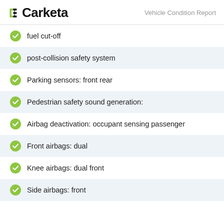Carketa — Vehicle Condition Report
fuel cut-off
post-collision safety system
Parking sensors: front rear
Pedestrian safety sound generation:
Airbag deactivation: occupant sensing passenger
Front airbags: dual
Knee airbags: dual front
Side airbags: front